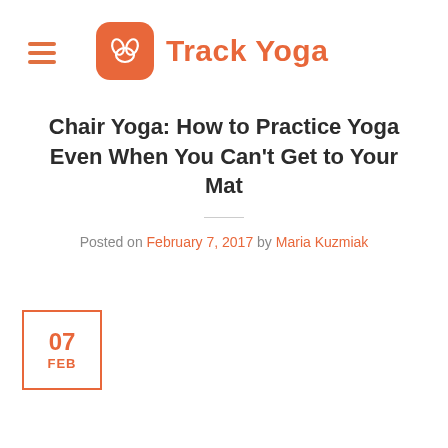Track Yoga
Chair Yoga: How to Practice Yoga Even When You Can't Get to Your Mat
Posted on February 7, 2017 by Maria Kuzmiak
[Figure (other): Date badge showing 07 FEB in orange bordered box]